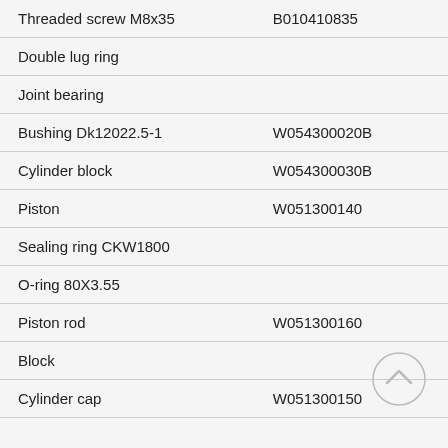| Item | Part Number |
| --- | --- |
| Threaded screw M8x35 | B010410835 |
| Double lug ring |  |
| Joint bearing |  |
| Bushing Dk12022.5-1 | W054300020B |
| Cylinder block | W054300030B |
| Piston | W051300140 |
| Sealing ring CKW1800 |  |
| O-ring 80X3.55 |  |
| Piston rod | W051300160 |
| Block |  |
| Cylinder cap | W051300150 |